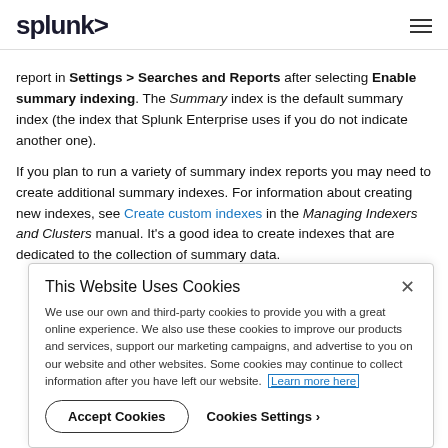splunk>
report in Settings > Searches and Reports after selecting Enable summary indexing. The Summary index is the default summary index (the index that Splunk Enterprise uses if you do not indicate another one).
If you plan to run a variety of summary index reports you may need to create additional summary indexes. For information about creating new indexes, see Create custom indexes in the Managing Indexers and Clusters manual. It's a good idea to create indexes that are dedicated to the collection of summary data.
This Website Uses Cookies
We use our own and third-party cookies to provide you with a great online experience. We also use these cookies to improve our products and services, support our marketing campaigns, and advertise to you on our website and other websites. Some cookies may continue to collect information after you have left our website. Learn more here
Accept Cookies   Cookies Settings ›